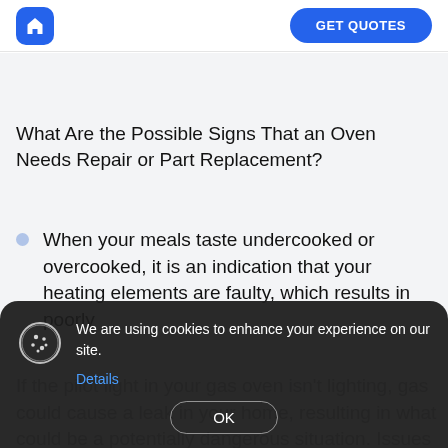GET QUOTES
What Are the Possible Signs That an Oven Needs Repair or Part Replacement?
When your meals taste undercooked or overcooked, it is an indication that your heating elements are faulty, which results in poorly
If the pilot light in your gas oven isn't lighting, gas could cause a leak in your home, resulting in what could be a potentially dangerous situation. Issues with your pilot light should always be
We are using cookies to enhance your experience on our site.
Details
OK